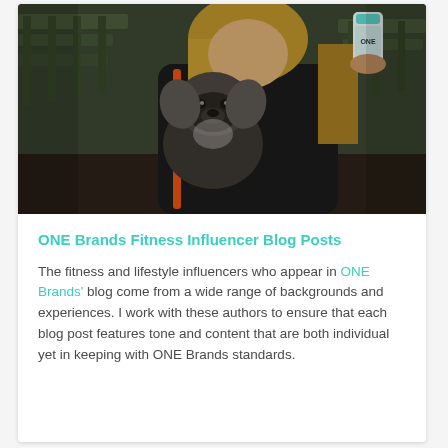[Figure (photo): A woman in a black jacket with an orange stripe sits outdoors on a park bench, holding a white bottle/container. A small dark fluffy dog (Shih Tzu type) sits on her lap. The scene appears to be in a park with benches visible in the background.]
ONE Brands Fitness Influencer Blog Posts
The fitness and lifestyle influencers who appear in ONE Brands' blog come from a wide range of backgrounds and experiences. I work with these authors to ensure that each blog post features tone and content that are both individual yet in keeping with ONE Brands standards.